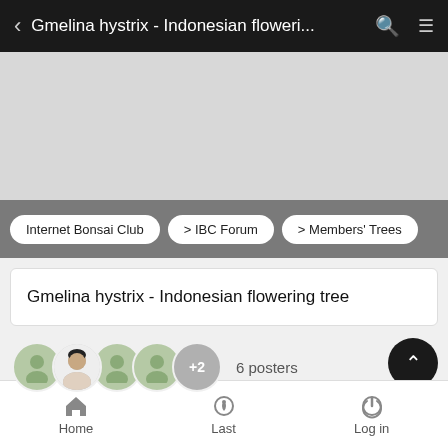Gmelina hystrix - Indonesian floweri...
[Figure (screenshot): Gray advertisement or content placeholder area]
Internet Bonsai Club  > IBC Forum  > Members' Trees
Gmelina hystrix - Indonesian flowering tree
6 posters
Home  Last  Log in